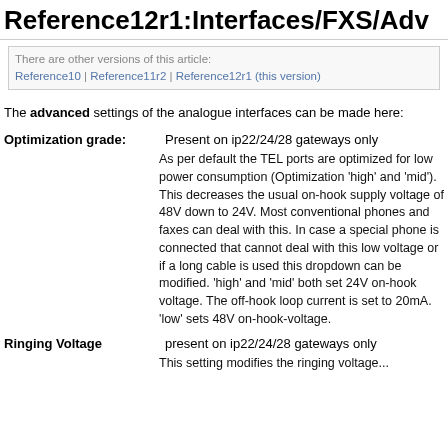Reference12r1:Interfaces/FXS/Adv
There are other versions of this article:
Reference10 | Reference11r2 | Reference12r1 (this version)
The advanced settings of the analogue interfaces can be made here:
Optimization grade: Present on ip22/24/28 gateways only
As per default the TEL ports are optimized for low power consumption (Optimization 'high' and 'mid'). This decreases the usual on-hook supply voltage of 48V down to 24V. Most conventional phones and faxes can deal with this. In case a special phone is connected that cannot deal with this low voltage or if a long cable is used this dropdown can be modified. 'high' and 'mid' both set 24V on-hook voltage. The off-hook loop current is set to 20mA. 'low' sets 48V on-hook-voltage.
Ringing Voltage    present on ip22/24/28 gateways only
This setting modifies the ringing voltage...